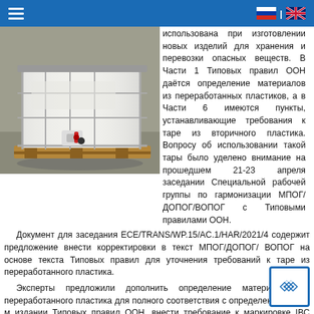≡  | [RU flag] | [UK flag]
[Figure (photo): Photograph of a white IBC (Intermediate Bulk Container) plastic tank with metal cage frame on a pallet, photographed outdoors on a concrete surface]
использована при изготовлении новых изделий для хранения и перевозки опасных веществ. В Части 1 Типовых правил ООН даётся определение материалов из переработанных пластиков, а в Части 6 имеются пункты, устанавливающие требования к таре из вторичного пластика. Вопросу об использовании такой тары было уделено внимание на прошедшем 21-23 апреля заседании Специальной рабочей группы по гармонизации МПОГ/ДОПОГ/ВОПОГ с Типовыми правилами ООН.
Документ для заседания ECE/TRANS/WP.15/AC.1/HAR/2021/4 содержит предложение внести корректировки в текст МПОГ/ДОПОГ/ВОПОГ на основе текста Типовых правил для уточнения требований к таре из переработанного пластика.
Эксперты предложили дополнить определение материалов из переработанного пластика для полного соответствия с определением в 22-м издании Типовых правил ООН, внести требование к маркировке IBC (контейнеров средней грузоподъёмности) из вторичных пластиков аббревиатурой REC и улучшить формулировки для уточнения и расширения возможностей использования восстановленного пластика для хранения и перевозки опасных. Решение вопроса об использовании переработанного пластика для более экологичного и рационального использования ресурсов